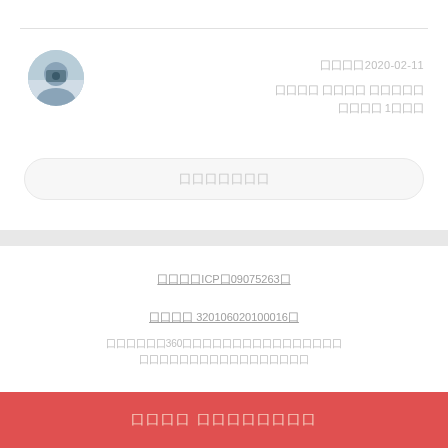[Figure (photo): Circular avatar photo of a person]
发布时间2020-02-11
囗囗囗囗 囗囗囗囗 囗囗囗囗囗
囗囗囗囗 1囗囗囗
囗囗囗囗囗囗囗
囗囗囗囗ICP囗09075263囗
囗囗囗囗 320106020100016囗
囗囗囗囗囗囗360囗囗囗囗囗囗囗囗囗囗囗囗囗囗囗囗
囗囗囗囗囗囗囗囗囗囗囗囗囗囗囗囗囗
囗囗囗囗 囗囗囗囗囗囗囗囗